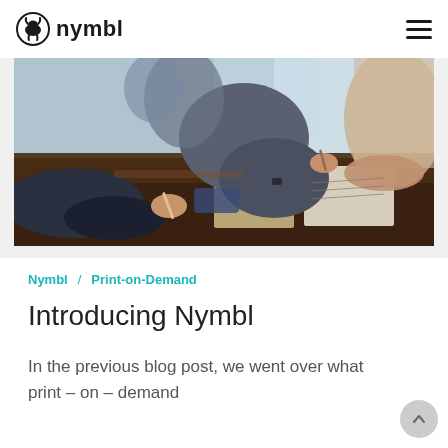nymbl
[Figure (photo): People sitting around a dark wooden table writing notes, seen from an angle, with light coming through windows in the background.]
Nymbl / Print-on-Demand
Introducing Nymbl
In the previous blog post, we went over what print – on – demand